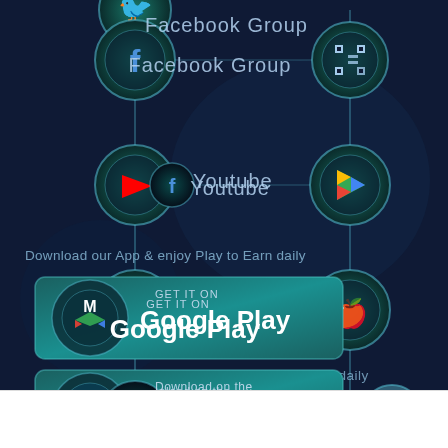[Figure (infographic): Dark navy blue background with social media app icons in teal circular nodes connected by lines on left and right sides. Icons include Twitter, Facebook Group, YouTube, Discord on left; QR code, Google Play, Apple App Store on right. Text overlay: 'Download our App & enjoy Play to Earn daily'. Google Play and App Store download buttons shown in center-left. Bottom white bar with 'x' and 'Cart' text.]
Facebook Group
Youtube
Download our App & enjoy Play to Earn daily
GET IT ON
Google Play
Download on the
App Store
x
Cart